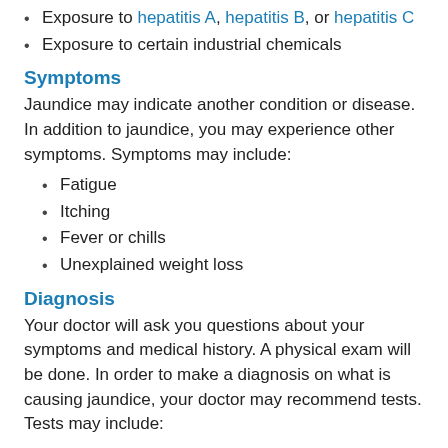Exposure to hepatitis A, hepatitis B, or hepatitis C
Exposure to certain industrial chemicals
Symptoms
Jaundice may indicate another condition or disease. In addition to jaundice, you may experience other symptoms. Symptoms may include:
Fatigue
Itching
Fever or chills
Unexplained weight loss
Diagnosis
Your doctor will ask you questions about your symptoms and medical history. A physical exam will be done. In order to make a diagnosis on what is causing jaundice, your doctor may recommend tests. Tests may include:
Blood tests